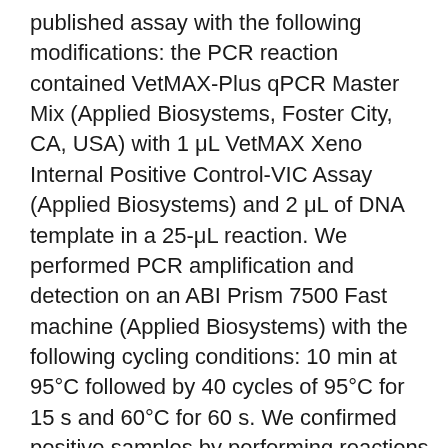published assay with the following modifications: the PCR reaction contained VetMAX-Plus qPCR Master Mix (Applied Biosystems, Foster City, CA, USA) with 1 μL VetMAX Xeno Internal Positive Control-VIC Assay (Applied Biosystems) and 2 μL of DNA template in a 25-μL reaction. We performed PCR amplification and detection on an ABI Prism 7500 Fast machine (Applied Biosystems) with the following cycling conditions: 10 min at 95°C followed by 40 cycles of 95°C for 15 s and 60°C for 60 s. We confirmed positive samples by performing reactions in triplicate. For samples that tested positive by rPCR assay, we later re-extracted DNA without the internal control DNA to avoid incorporation of control nucleic acids in conventional PCR products and then sequenced by Sanger methods. We quantified re-extracted DNA using a NanoDrop 1000 Spectrophotometer (ThermoFisher Scientific, Waltham, MA, USA). We